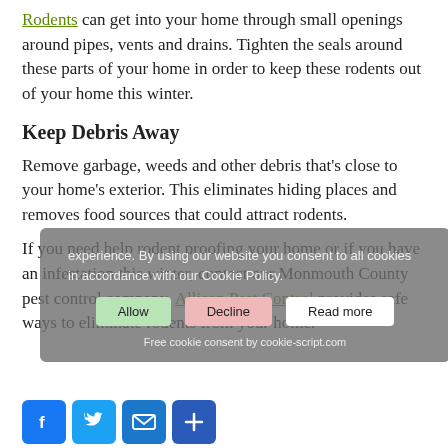Rodents can get into your home through small openings around pipes, vents and drains. Tighten the seals around these parts of your home in order to keep these rodents out of your home this winter.
Keep Debris Away
Remove garbage, weeds and other debris that's close to your home's exterior. This eliminates hiding places and removes food sources that could attract rodents.
If you need help rodent proofing your home or if you have an infestation this winter, contact our Monmouth County pest control company. Allison Pest Control provides safe ways to eliminate rodents from your home.
experience. By using our website you consent to all cookies in accordance with our Cookie Policy.
Free cookie consent by cookie-script.com